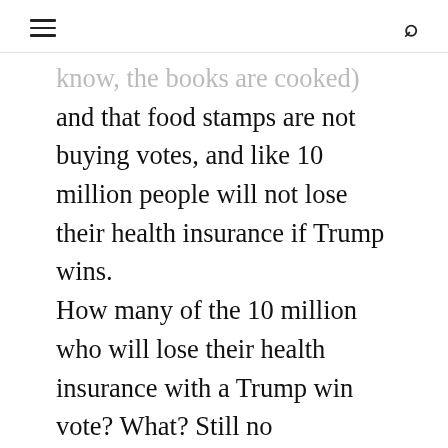≡  🔍
know, the books are cooked) and that food stamps are not buying votes, and like 10 million people will not lose their health insurance if Trump wins. How many of the 10 million who will lose their health insurance with a Trump win vote? What? Still no Republican plan? What has it